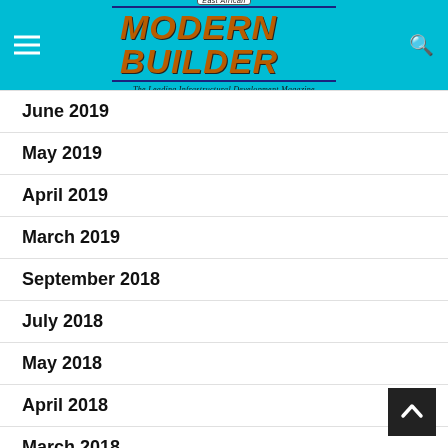East African MODERN BUILDER — The Leading Infrastructural Development Magazine
June 2019
May 2019
April 2019
March 2019
September 2018
July 2018
May 2018
April 2018
March 2018
February 2018
January 2018
December 2017
November 2017
October 2017